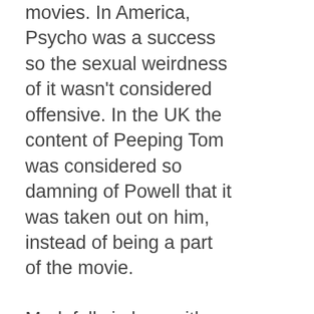movies. In America, Psycho was a success so the sexual weirdness of it wasn't considered offensive. In the UK the content of Peeping Tom was considered so damning of Powell that it was taken out on him, instead of being a part of the movie.

Mark falls in love with his downstairs neighbor, who writes children's books, and they try to collaborate on something together - and Mark